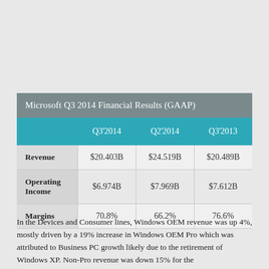|  | Q3'2014 | Q2'2014 | Q3'2013 |
| --- | --- | --- | --- |
| Revenue | $20.403B | $24.519B | $20.489B |
| Operating Income | $6.974B | $7.969B | $7.612B |
| Margins | 70.8% | 66.2% | 76.6% |
In the Devices and Consumer lines, Windows OEM revenue was up 4%, mostly driven by a 19% increase in Windows OEM Pro which was attributed to Business PC growth likely due to the retirement of Windows XP. Non-Pro revenue was down 15% for the